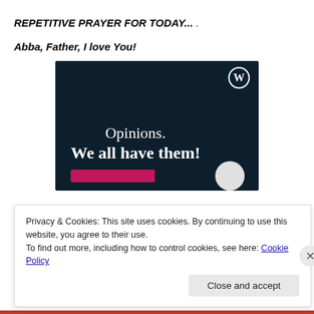REPETITIVE PRAYER FOR TODAY...
.
Abba, Father, I love You!
[Figure (screenshot): Dark navy advertisement banner with WordPress logo in top right corner. Text reads 'Opinions. We all have them!' in white serif font on dark background. Pink button bar at bottom left, grey circle at bottom right.]
Privacy & Cookies: This site uses cookies. By continuing to use this website, you agree to their use.
To find out more, including how to control cookies, see here: Cookie Policy
Close and accept